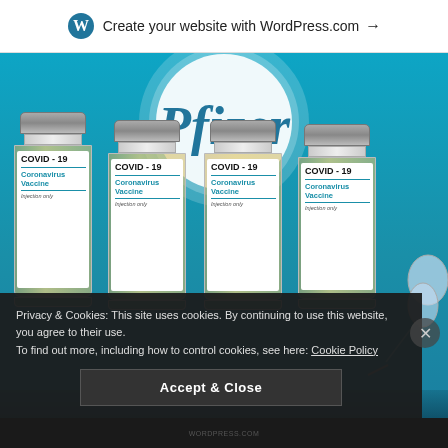Create your website with WordPress.com →
[Figure (photo): Four glass vials labeled COVID-19 Coronavirus Vaccine Injection only arranged in a row in front of a large Pfizer logo on a blue background, with a syringe visible on the right side.]
Privacy & Cookies: This site uses cookies. By continuing to use this website, you agree to their use.
To find out more, including how to control cookies, see here: Cookie Policy
Accept & Close